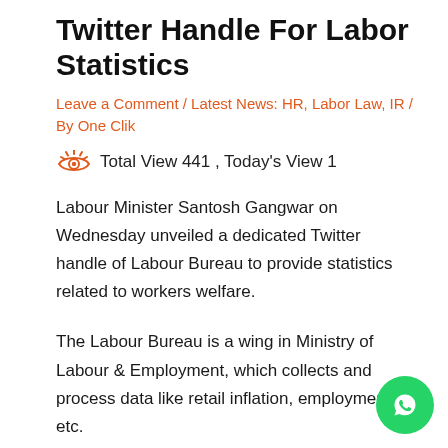Twitter Handle For Labor Statistics
Leave a Comment / Latest News: HR, Labor Law, IR / By One Clik
Total View 441 , Today's View 1
Labour Minister Santosh Gangwar on Wednesday unveiled a dedicated Twitter handle of Labour Bureau to provide statistics related to workers welfare.
The Labour Bureau is a wing in Ministry of Labour & Employment, which collects and process data like retail inflation, employment etc.
"In its endeavour to supply updated latest statistics rel